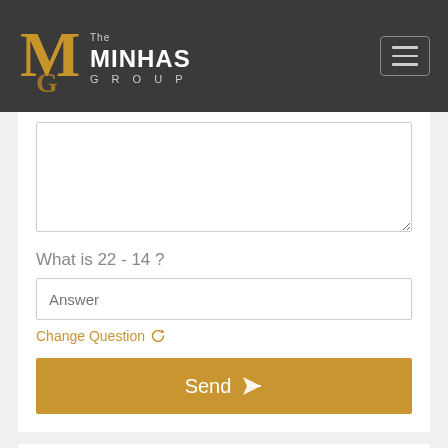[Figure (logo): The Minhas Group logo with gold MG monogram and white text]
What is 22 - 14 ?
Answer
Change Question
Send
Danny Deng
Personal Real Estate Corporation